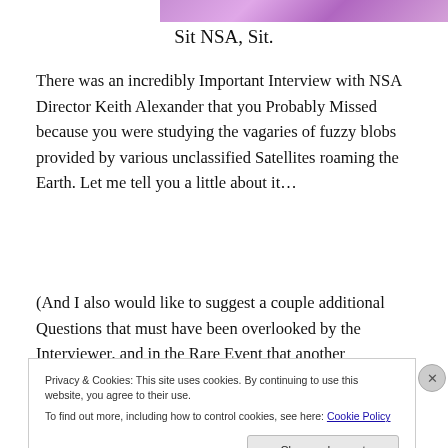[Figure (photo): Partial image of a purple/pink blurry background at the top of the page]
Sit NSA, Sit.
There was an incredibly Important Interview with NSA Director Keith Alexander that you Probably Missed because you were studying the vagaries of fuzzy blobs provided by various unclassified Satellites roaming the Earth. Let me tell you a little about it…
(And I also would like to suggest a couple additional Questions that must have been overlooked by the Interviewer, and in the Rare Event that another
Privacy & Cookies: This site uses cookies. By continuing to use this website, you agree to their use.
To find out more, including how to control cookies, see here: Cookie Policy
Close and accept